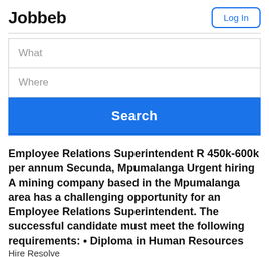Jobbeb
Log In
What
Where
Search
Employee Relations Superintendent R 450k-600k per annum Secunda, Mpumalanga Urgent hiring A mining company based in the Mpumalanga area has a challenging opportunity for an Employee Relations Superintendent. The successful candidate must meet the following requirements: • Diploma in Human Resources
Hire Resolve